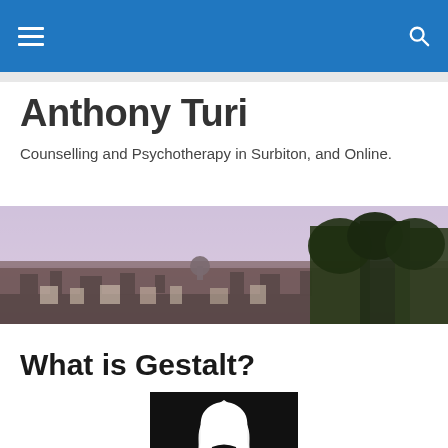Navigation bar with menu and search icons
Anthony Turi
Counselling and Psychotherapy in Surbiton, and Online.
[Figure (photo): Panoramic cityscape photo showing a city skyline with a dome (possibly Rome) in the background, trees on the right side, taken from an elevated vantage point with a purplish/hazy sky.]
What is Gestalt?
[Figure (illustration): Black and white optical illusion figure-ground image showing either a white vase/goblet or two black face silhouettes facing each other, classic Gestalt psychology illustration.]